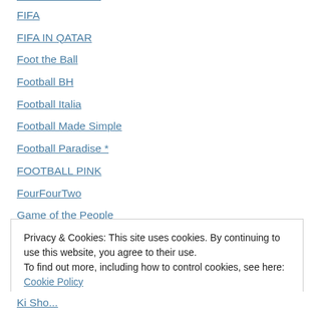FIFA
FIFA IN QATAR
Foot the Ball
Football BH
Football Italia
Football Made Simple
Football Paradise *
FOOTBALL PINK
FourFourTwo
Game of the People
Get Football News France
Goal
Privacy & Cookies: This site uses cookies. By continuing to use this website, you agree to their use. To find out more, including how to control cookies, see here: Cookie Policy
Ki Sho...